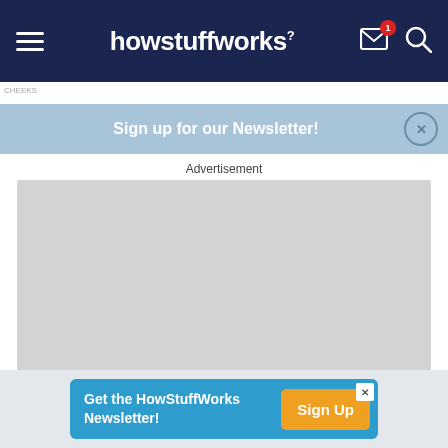howstuffworks
Sign up for our Newsletter!
Advertisement
[Figure (other): Grey advertisement placeholder box]
Get the HowStuffWorks Newsletter! Sign Up